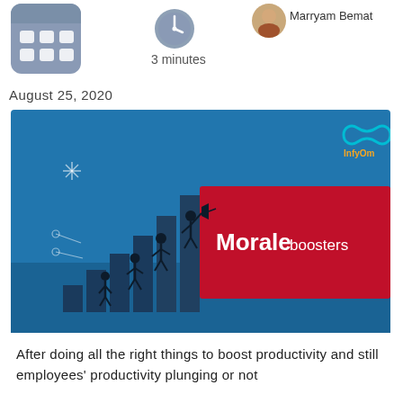[Figure (illustration): Calendar grid icon (dark blue/grey squares on rounded rectangle)]
[Figure (illustration): Clock/timer icon showing reading time]
3 minutes
[Figure (photo): Author profile photo thumbnail]
Marryam Bemat
August 25, 2020
[Figure (illustration): Morale boosters illustration: blue background with business figures climbing ascending bar chart steps, with red panel showing 'Morale boosters' text and InfyOm logo top right]
After doing all the right things to boost productivity and still employees' productivity plunging or not